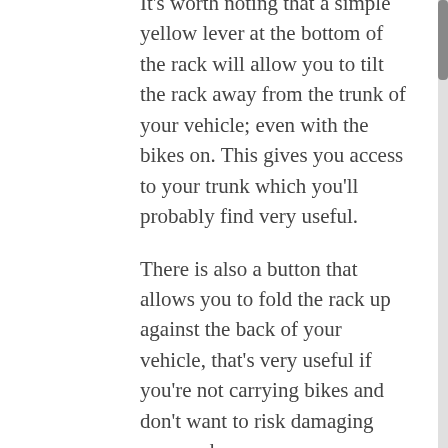It's worth noting that a simple yellow lever at the bottom of the rack will allow you to tilt the rack away from the trunk of your vehicle; even with the bikes on. This gives you access to your trunk which you'll probably find very useful.
There is also a button that allows you to fold the rack up against the back of your vehicle, that's very useful if you're not carrying bikes and don't want to risk damaging your rack.
As the rack weighs 32 pounds and can accommodate up to 120 pounds this is a blessing, you don't want to be unloading them every time you need to get into your trunk.
No Frame Contact